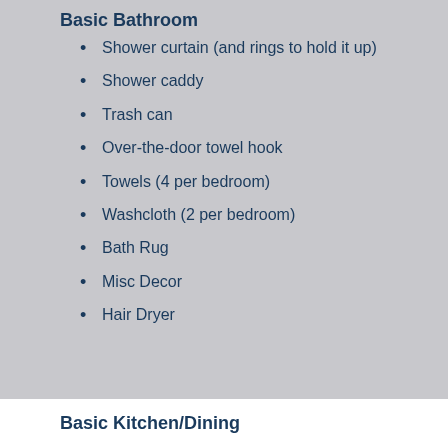Basic Bathroom
Shower curtain (and rings to hold it up)
Shower caddy
Trash can
Over-the-door towel hook
Towels (4 per bedroom)
Washcloth (2 per bedroom)
Bath Rug
Misc Decor
Hair Dryer
Basic Kitchen/Dining